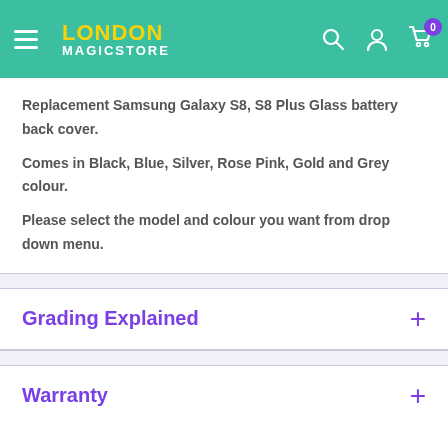London Magic Store
Replacement Samsung Galaxy S8, S8 Plus Glass battery back cover.
Comes in Black, Blue, Silver, Rose Pink, Gold and Grey colour.
Please select the model and colour you want from drop down menu.
Grading Explained
Warranty